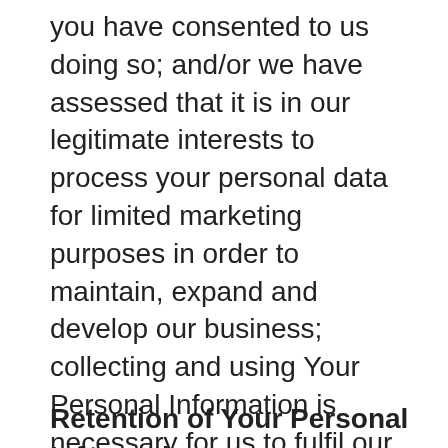you have consented to us doing so; and/or we have assessed that it is in our legitimate interests to process your personal data for limited marketing purposes in order to maintain, expand and develop our business; collecting and using Your Personal Information is necessary for us to fulfil our contractual obligations to you by virtue of you being a client/investor; It is necessary to comply with any applicable regulatory, judicial or other legal obligation.
Retention of Your Personal Information